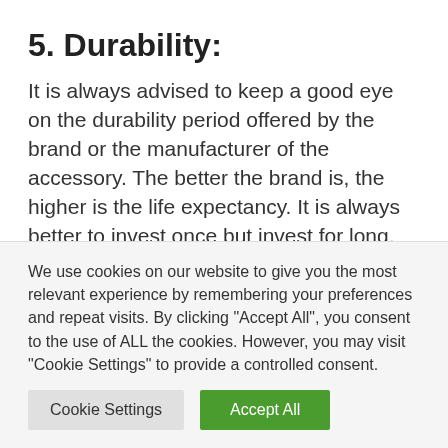5. Durability:
It is always advised to keep a good eye on the durability period offered by the brand or the manufacturer of the accessory. The better the brand is, the higher is the life expectancy. It is always better to invest once but invest for long.
We use cookies on our website to give you the most relevant experience by remembering your preferences and repeat visits. By clicking "Accept All", you consent to the use of ALL the cookies. However, you may visit "Cookie Settings" to provide a controlled consent.
Cookie Settings | Accept All